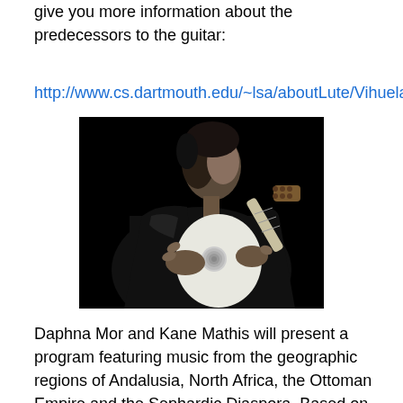give you more information about the predecessors to the guitar:
http://www.cs.dartmouth.edu/~lsa/aboutLute/Vihuela.html
[Figure (photo): Black and white photograph of a man in a dark jacket playing a white vihuela/guitar-like instrument against a black background.]
Daphna Mor and Kane Mathis will present a program featuring music from the geographic regions of Andalusia, North Africa, the Ottoman Empire and the Sephardic Diaspora. Based on the monophonic music of modes